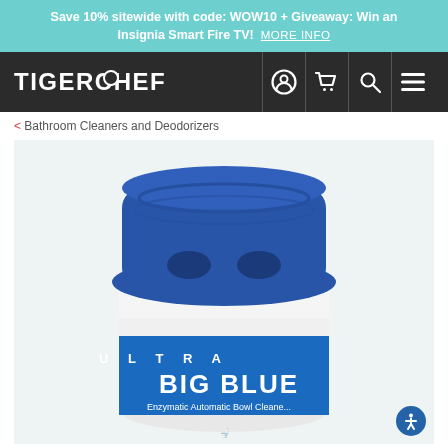Save 10% sitewide with code: WOW10 + Giveaway: Win an Insignia Smart Fire TV!  MORE INFO
[Figure (logo): TigerChef logo and navigation icons (user, cart, search, menu) on dark background]
< Bathroom Cleaners and Deodorizers
[Figure (photo): Close-up product photo of Ultra Big Blue Enzymatic Automatic Bowl Cleaner with blue cap/dispenser top and white cylindrical body with blue label]